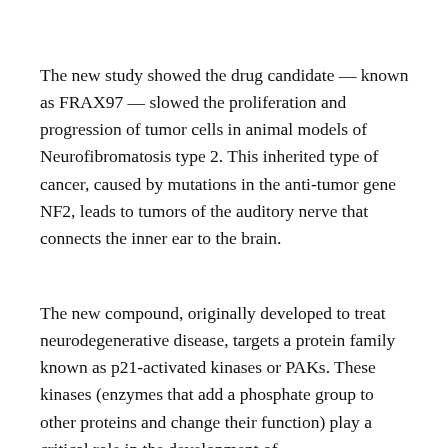The new study showed the drug candidate — known as FRAX97 — slowed the proliferation and progression of tumor cells in animal models of Neurofibromatosis type 2. This inherited type of cancer, caused by mutations in the anti-tumor gene NF2, leads to tumors of the auditory nerve that connects the inner ear to the brain.
The new compound, originally developed to treat neurodegenerative disease, targets a protein family known as p21-activated kinases or PAKs. These kinases (enzymes that add a phosphate group to other proteins and change their function) play a critical role in the development of